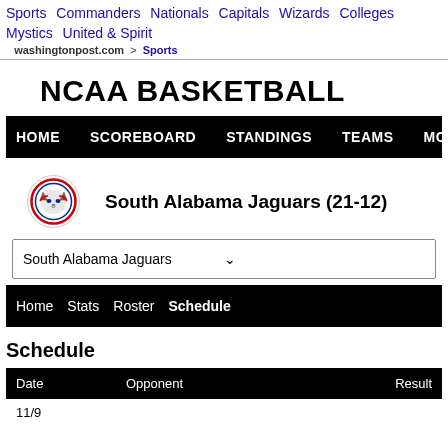Sports | Commanders | Nationals | Capitals | Wizards | Colleges | Mystics | United & Spirit | washingtonpost.com > Sports
NCAA BASKETBALL
HOME   SCOREBOARD   STANDINGS   TEAMS   MORE...
[Figure (logo): South Alabama Jaguars logo — circular emblem with jaguar head]
South Alabama Jaguars (21-12)
South Alabama Jaguars (dropdown)
Home  Stats  Roster  Schedule
Schedule
| Date | Opponent | Result |
| --- | --- | --- |
| 11/9 |  |  |